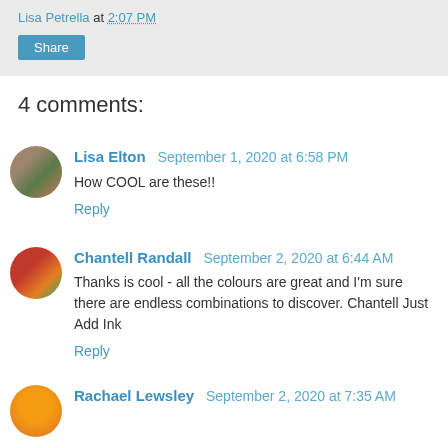Lisa Petrella at 2:07 PM
Share
4 comments:
Lisa Elton  September 1, 2020 at 6:58 PM
How COOL are these!!
Reply
Chantell Randall  September 2, 2020 at 6:44 AM
Thanks is cool - all the colours are great and I'm sure there are endless combinations to discover. Chantell Just Add Ink
Reply
Rachael Lewsley  September 2, 2020 at 7:35 AM